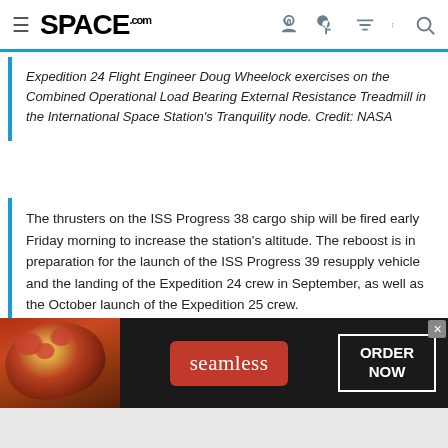SPACE.com
Expedition 24 Flight Engineer Doug Wheelock exercises on the Combined Operational Load Bearing External Resistance Treadmill in the International Space Station's Tranquility node. Credit: NASA
The thrusters on the ISS Progress 38 cargo ship will be fired early Friday morning to increase the station's altitude. The reboost is in preparation for the launch of the ISS Progress 39 resupply vehicle and the landing of the Expedition 24 crew in September, as well as the October launch of the Expedition 25 crew.
http://www.onorbit.com : Photo: Deep Cold Biological Samples In Space
[Figure (photo): Seamless food delivery advertisement banner with pizza image, Seamless logo in red box, and ORDER NOW button]